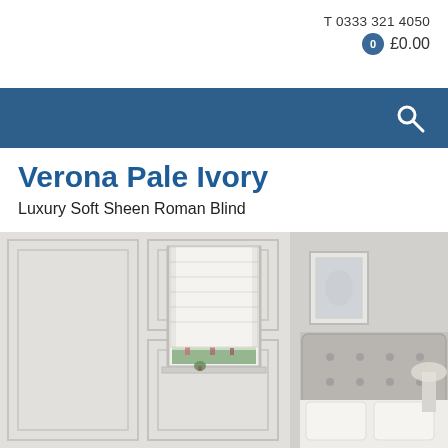T 0333 321 4050   0  £0.00
[Figure (screenshot): Blue navigation bar with search icon (magnifying glass) on the right]
Verona Pale Ivory
Luxury Soft Sheen Roman Blind
[Figure (photo): A pale ivory/white Roman blind hung in a window of an elegant white panelled room with a bed visible to the right and flowers outside the window]